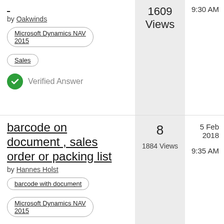by Oakwinds
Microsoft Dynamics NAV 2015
Sales
Verified Answer
1609 Views
9:30 AM
barcode on document , sales order or packing list
by Hannes Holst
barcode with document
Microsoft Dynamics NAV 2015
8
1884 Views
5 Feb 2018
9:35 AM